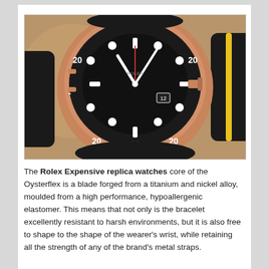[Figure (photo): Close-up photograph of a Rolex watch with a black ceramic bezel, rose gold case, black dial with white hour markers and hands, and a black rubber Oysterflex strap. A second watch is partially visible in the background.]
The Rolex Expensive replica watches core of the Oysterflex is a blade forged from a titanium and nickel alloy, moulded from a high performance, hypoallergenic elastomer. This means that not only is the bracelet excellently resistant to harsh environments, but it is also free to shape to the shape of the wearer's wrist, while retaining all the strength of any of the brand's metal straps.